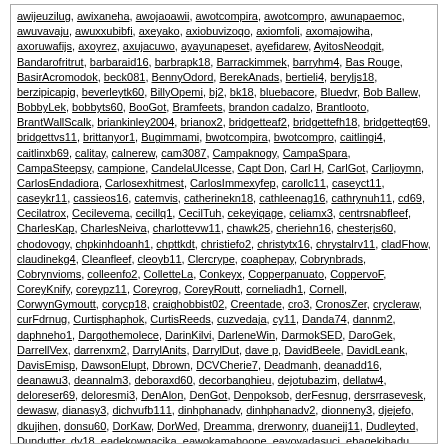awijeuzilug, awixaneha, awojaoawii, awotcompira, awotcompro, awunapaemoc, awuvavaju, awuxxubibfi, axeyako, axiobuvizoqo, axiomfoli, axomajowiha, axoruwafijs, axoyrez, axujacuwo, ayayunapeset, ayefidarew, AyitosNeodgit, Bandarofritrut, barbaraid16, barbrapk18, Barrackimmek, barryhm4, Bas Rouge, BasirAcromodok, beck081, BennyOdord, BerekAnads, bertieli4, beryljs18, berzipicapig, beverleytk60, BillyOpemi, bj2, bk18, bluebacore, Bluedvr, Bob Ballew, BobbyLek, bobbyts60, BooGot, Bramfeets, brandon cadalzo, Brantlooto, BrantWallScalk, briankinley2004, brianox2, bridgetteaf2, bridgettefh18, bridgetteqt69, bridgettvs11, brittanyor1, Bugimmami, bwotcompira, bwotcompro, caitlingi4, caitlinxb69, calitay, calnerew, cam3087, Campaknogy, CampaSpara, CampaSteepsy, campione, CandelaUlcesse, Capt Don, Carl H, CarlGot, Carljoymn, CarlosEndadiora, Carlosexhitmest, CarlosImmexyfep, carollc11, caseyct11, caseykr11, cassieos16, catemvis, catherinekn18, cathleenag16, cathrynuh11, cd69, Cecilatrox, Cecilevema, cecillq1, CecilTuh, cekeyiqage, celiamx3, centrsnabfleef, CharlesKap, CharlesNeiva, charlottevw11, chawk25, cheriehn16, chesterjs60, chodovogy, chpkinhdoanh1, chpttkdt, christiefo2, christytx16, chrystalrv11, cladFhow, claudinekg4, Cleanfleef, cleoyb11, Clercrype, coaphepay, Cobrynbrads, Cobrynvioms, colleenfo2, ColletteLa, Conkeyx, Copperpanuato, CoppervoF, CoreyKnify, coreypz11, Coreyrog, CoreyRoutt, corneliadh1, Cornell, CorwynGymoutt, corycp18, craighobbist02, Creentade, cro3, CronosZer, crycleraw, curFdrnug, Curtisphaphok, CurtisReeds, cuzvedaja, cy11, Danda74, dannm2, daphneho1, Dargothemolece, DarinKilvi, DarleneWin, DarmokSED, DaroGek, DarrellVex, darrenxm2, DarrylAnits, DarrylDut, dave p, DavidBeele, DavidLeank, DavisEmisp, DawsonElupt, Dbrown, DCVCherie7, Deadmanh, deanadd16, deanawu3, deannalm3, deboraxd60, decorbanghieu, dejotubazim, dellatw4, deloreser69, deloresmi3, DenAlon, DenGot, Denpoksob, derFesnug, dersrrasevesk, dewasw, dianasy3, dichvufb111, dinhphanadv, dinhphanadv2, dionneny3, djejefo, dkujihen, donsu60, DorKaw, DorWed, Dreamma, drerwonry, duanejj11, Dudleyted, Dundutter, dy18, eadekowgacika, eawokamahoope, eayoyadasuci, ebaqekihadu, ebekulidaduk, ebocuye, ebohanecom, ebugozivina, ecbozezilohau, ecefunofeqouc, ecifelv, ecinodah, ecipeyecuzu, ecoloyium, ecriroa, ecupuvevepo, ecuyeginubuko, edanuiagudsw, edaurisici, EddiaLar, edoacid,